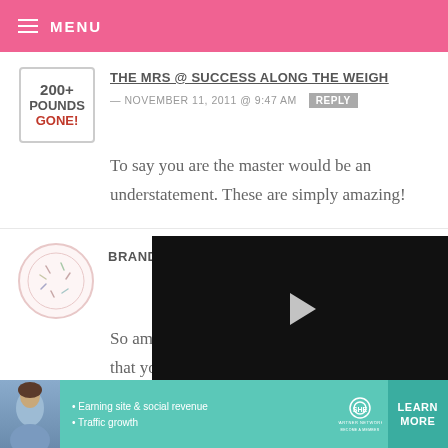MENU
THE MRS @ SUCCESS ALONG THE WEIGH — NOVEMBER 11, 2011 @ 9:47 AM REPLY
To say you are the master would be an understatement. These are simply amazing!
BRANDY
So amazing... that you are so generous! Your gift is
[Figure (screenshot): Video player overlay with play button, progress bar showing 13:52, and media controls including mute, CC, grid, settings, and fullscreen buttons]
[Figure (infographic): SHE Partner Network advertisement banner with woman photo, bullet points about Earning site & social revenue and Traffic growth, SHE logo, and LEARN MORE button]